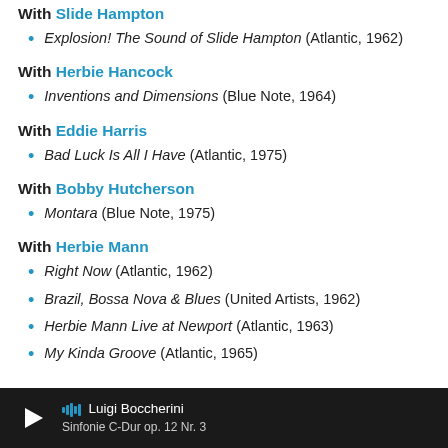With Slide Hampton
Explosion! The Sound of Slide Hampton (Atlantic, 1962)
With Herbie Hancock
Inventions and Dimensions (Blue Note, 1964)
With Eddie Harris
Bad Luck Is All I Have (Atlantic, 1975)
With Bobby Hutcherson
Montara (Blue Note, 1975)
With Herbie Mann
Right Now (Atlantic, 1962)
Brazil, Bossa Nova & Blues (United Artists, 1962)
Herbie Mann Live at Newport (Atlantic, 1963)
My Kinda Groove (Atlantic, 1965)
Luigi Boccherini — Sinfonie C-Dur op. 12 Nr. 3